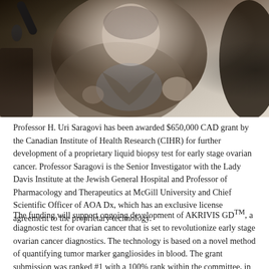[Figure (photo): Professor H. Uri Saragovi speaking at a podium or lectern, wearing a grey blazer and blue shirt, with a microphone visible to the left and a silhouette partially visible on the right. He appears to be gesturing with his hands.]
Professor H. Uri Saragovi has been awarded $650,000 CAD grant by the Canadian Institute of Health Research (CIHR) for further development of a proprietary liquid biopsy test for early stage ovarian cancer. Professor Saragovi is the Senior Investigator with the Lady Davis Institute at the Jewish General Hospital and Professor of Pharmacology and Therapeutics at McGill University and Chief Scientific Officer of AOA Dx, which has an exclusive license agreement to the proprietary technology.
The funding will support ongoing development of AKRIVIS GDTM, a diagnostic test for ovarian cancer that is set to revolutionize early stage ovarian cancer diagnostics. The technology is based on a novel method of quantifying tumor marker gangliosides in blood. The grant submission was ranked #1 with a 100% rank within the committee, in which have a prime mandate for funding from the CIHR.